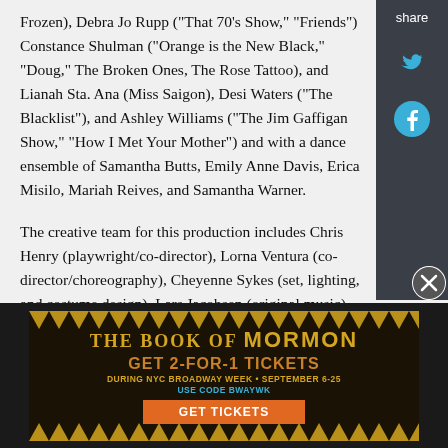Frozen), Debra Jo Rupp ("That 70's Show," "Friends") Constance Shulman ("Orange is the New Black," "Doug," The Broken Ones, The Rose Tattoo), and Lianah Sta. Ana (Miss Saigon), Desi Waters ("The Blacklist"), and Ashley Williams ("The Jim Gaffigan Show," "How I Met Your Mother") and with a dance ensemble of Samantha Butts, Emily Anne Davis, Erica Misilo, Mariah Reives, and Samantha Warner.
The creative team for this production includes Chris Henry (playwright/co-director), Lorna Ventura (co-director/choreography), Cheyenne Sykes (set, lighting, and costume design), Lars Jacobsen (original music), Chet Miller (sound design), Kole...
[Figure (screenshot): Advertisement banner for 'The Book of Mormon' musical. Text: 'THE BOOK OF MORMON', 'GET 2-FOR-1 TICKETS', 'DURING NYC BROADWAY WEEK • SEPTEMBER 6-25', 'USE CODE BWAYWK', 'GET TICKETS' button. Gold/orange color scheme with decorative spikes border.]